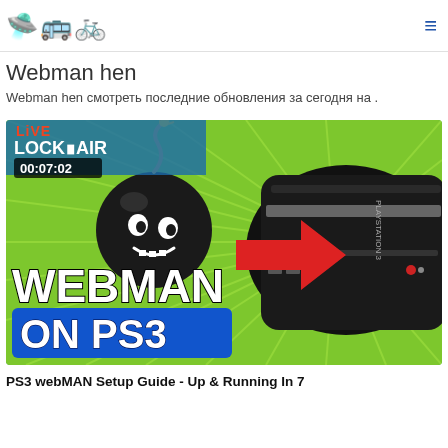🛸 🚌 🚲 ≡
Webman hen
Webman hen смотреть последние обновления за сегодня на .
[Figure (screenshot): YouTube video thumbnail showing a PS3 console with text 'WEBMAN ON PS3', a cartoon bomb character, green background, and timestamp 00:07:02. Title: PS3 webMAN Setup Guide - Up & Running In 7]
PS3 webMAN Setup Guide - Up & Running In 7